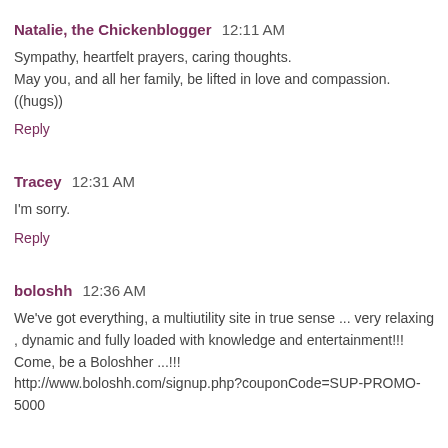Natalie, the Chickenblogger  12:11 AM
Sympathy, heartfelt prayers, caring thoughts.
May you, and all her family, be lifted in love and compassion.
((hugs))
Reply
Tracey  12:31 AM
I'm sorry.
Reply
boloshh  12:36 AM
We've got everything, a multiutility site in true sense ... very relaxing , dynamic and fully loaded with knowledge and entertainment!!!
Come, be a Boloshher ...!!!
http://www.boloshh.com/signup.php?couponCode=SUP-PROMO-5000